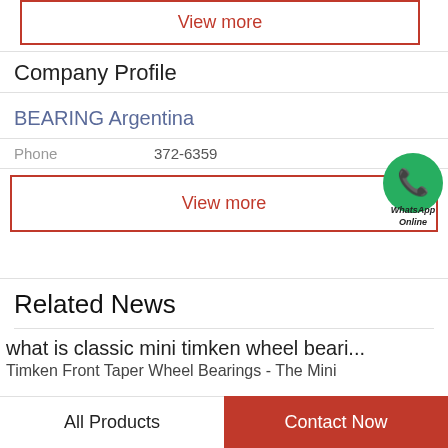View more
Company Profile
BEARING Argentina
Phone    372-6359
View more
[Figure (logo): WhatsApp green circle icon with phone handset, labeled WhatsApp Online]
Related News
what is classic mini timken wheel beari...
Timken Front Taper Wheel Bearings - The Mini
All Products    Contact Now